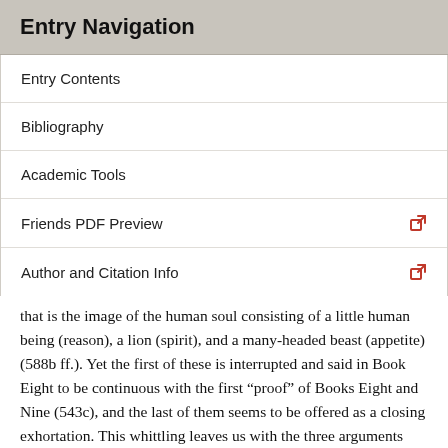Entry Navigation
Entry Contents
Bibliography
Academic Tools
Friends PDF Preview
Author and Citation Info
that is the image of the human soul consisting of a little human being (reason), a lion (spirit), and a many-headed beast (appetite) (588b ff.). Yet the first of these is interrupted and said in Book Eight to be continuous with the first “proof” of Books Eight and Nine (543c), and the last of them seems to be offered as a closing exhortation. This whittling leaves us with the three arguments that Socrates labels his “proofs” (580c9, cf. 583b), the first discussing psychological health and disease at length and the second and third concerning pleasure.
Already in Book Four, Glaucon is ready to declare that